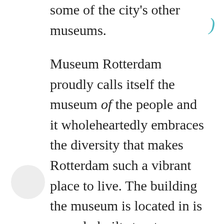some of the city's other museums.
Museum Rotterdam proudly calls itself the museum of the people and it wholeheartedly embraces the diversity that makes Rotterdam such a vibrant place to live. The building the museum is located in is a newly built structure designed by Rem Koolhaas and it is architecturally stunning. However, it was originally designed to be the local government's service centre and it is not ideally suited to house museum collections. The museum does not have much of a shop, no café and visitors need to use the toilets of the bar next door. Despite these challenges, the museum manages